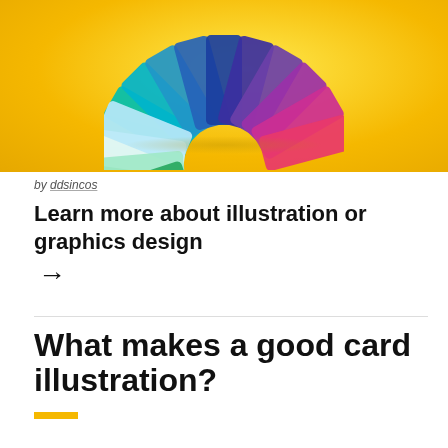[Figure (illustration): A colorful fan/wheel of overlapping rectangular cards in various colors (green, teal, blue, purple, pink, red, orange) arranged in a circular fan pattern on a bright yellow/golden background with a shadow ellipse below.]
by ddsincos
Learn more about illustration or graphics design →
What makes a good card illustration?